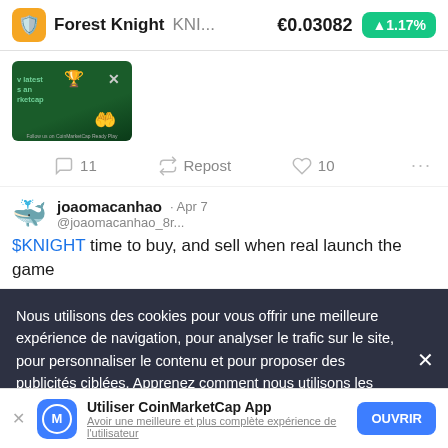Forest Knight KNI... €0.03082 ▲1.17%
[Figure (screenshot): Thumbnail image for a CoinMarketCap community post about Forest Knight, showing a dark green background with game-related graphics, hand holding a coin, and X icon. Footer text: Follow us on CoinMarketCap Ready Play]
11  Repost  10  ...
joaomacanhao · Apr 7
@joaomacanhao_8r...
$KNIGHT time to buy, and sell when real launch the game
Nous utilisons des cookies pour vous offrir une meilleure expérience de navigation, pour analyser le trafic sur le site, pour personnaliser le contenu et pour proposer des publicités ciblées. Apprenez comment nous utilisons les cookies et comment vous pouvez les contrôler sur
Utiliser CoinMarketCap App
Avoir une meilleure et plus complète expérience de l'utilisateur
OUVRIR